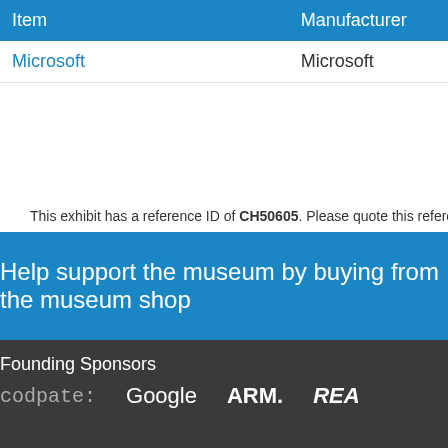| Item | Manufacturer |
| --- | --- |
| Microsoft | Microsoft |
This exhibit has a reference ID of CH50605. Please quote this reference ID in any commun
Help support the museum by buying from the museum shop
Founding Sponsors
[Figure (logo): Sponsor logos: codpaste, Google, ARM, REA]